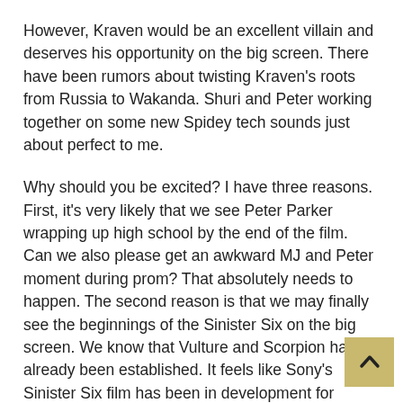However, Kraven would be an excellent villain and deserves his opportunity on the big screen. There have been rumors about twisting Kraven's roots from Russia to Wakanda. Shuri and Peter working together on some new Spidey tech sounds just about perfect to me.
Why should you be excited? I have three reasons. First, it's very likely that we see Peter Parker wrapping up high school by the end of the film. Can we also please get an awkward MJ and Peter moment during prom? That absolutely needs to happen. The second reason is that we may finally see the beginnings of the Sinister Six on the big screen. We know that Vulture and Scorpion have already been established. It feels like Sony's Sinister Six film has been in development for decades.
The last, and most fun, reason will be finding out how Sony